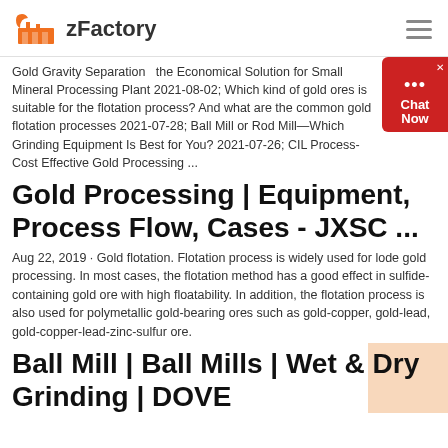zFactory
Gold Gravity Separation  the Economical Solution for Small Mineral Processing Plant 2021-08-02; Which kind of gold ores is suitable for the flotation process? And what are the common gold flotation processes 2021-07-28; Ball Mill or Rod Mill—Which Grinding Equipment Is Best for You? 2021-07-26; CIL Process-Cost Effective Gold Processing ...
Gold Processing | Equipment, Process Flow, Cases - JXSC ...
Aug 22, 2019 · Gold flotation. Flotation process is widely used for lode gold processing. In most cases, the flotation method has a good effect in sulfide-containing gold ore with high floatability. In addition, the flotation process is also used for polymetallic gold-bearing ores such as gold-copper, gold-lead, gold-copper-lead-zinc-sulfur ore.
Ball Mill | Ball Mills | Wet & Dry Grinding | DOVE